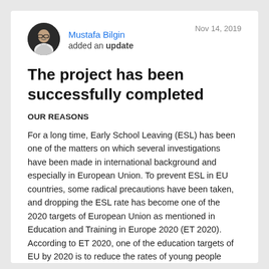[Figure (photo): Circular avatar photo of Mustafa Bilgin, a man with glasses, black and white portrait]
Mustafa Bilgin
added an update
Nov 14, 2019
The project has been successfully completed
OUR REASONS
For a long time, Early School Leaving (ESL) has been one of the matters on which several investigations have been made in international background and especially in European Union. To prevent ESL in EU countries, some radical precautions have been taken, and dropping the ESL rate has become one of the 2020 targets of European Union as mentioned in Education and Training in Europe 2020 (ET 2020). According to ET 2020, one of the education targets of EU by 2020 is to reduce the rates of young people leaving education and training with no more than secondary education to below 10 % and according to Country- Specific Recommendations (CSRs) in the area of education, prevention, intervention and compensation requirements will be implemented.